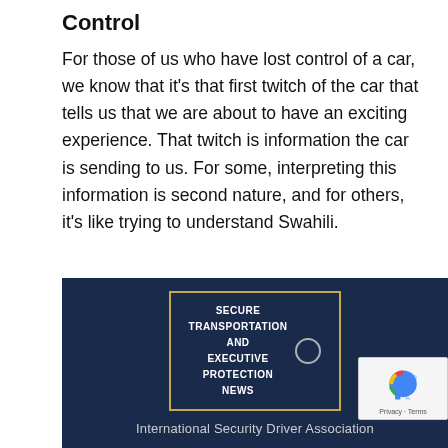Control
For those of us who have lost control of a car, we know that it’s that first twitch of the car that tells us that we are about to have an exciting experience. That twitch is information the car is sending to us. For some, interpreting this information is second nature, and for others, it’s like trying to understand Swahili.
[Figure (logo): International Security Driver Association logo banner with dark navy background. A gold-bordered box contains the text 'SECURE TRANSPORTATION AND EXECUTIVE PROTECTION NEWS' with a small circle emblem. Below reads 'International Security Driver Association'.]